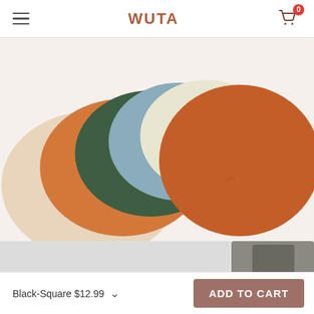WUTA — navigation header with hamburger menu and cart icon (badge: 0)
[Figure (photo): Five overlapping round leather placemats in different colors: beige/cream, orange, dark green, light blue/steel, and ivory/off-white. The rightmost mat is the largest orange-brown piece displayed flat. Product photo on a white background.]
[Figure (photo): Partial second product image showing a grey/light background and a blurred dark-colored item in the top right corner.]
Black-Square $12.99
ADD TO CART